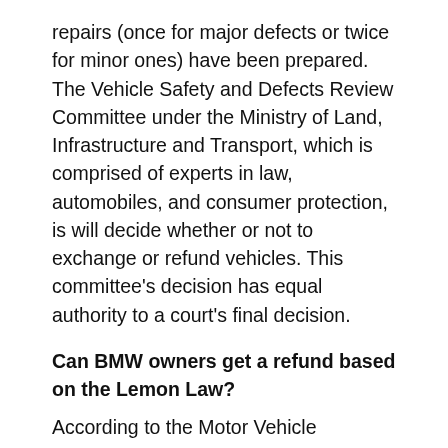repairs (once for major defects or twice for minor ones) have been prepared. The Vehicle Safety and Defects Review Committee under the Ministry of Land, Infrastructure and Transport, which is comprised of experts in law, automobiles, and consumer protection, is will decide whether or not to exchange or refund vehicles. This committee's decision has equal authority to a court's final decision.
Can BMW owners get a refund based on the Lemon Law?
According to the Motor Vehicle Management Act, it is assumed that defects initially discovered within six months of the date of delivery of the